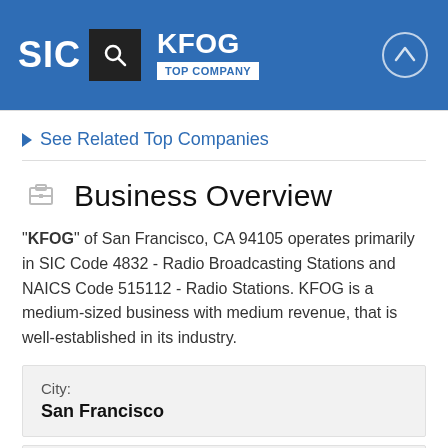SIC | KFOG | TOP COMPANY
See Related Top Companies
Business Overview
"KFOG" of San Francisco, CA 94105 operates primarily in SIC Code 4832 - Radio Broadcasting Stations and NAICS Code 515112 - Radio Stations. KFOG is a medium-sized business with medium revenue, that is well-established in its industry.
| Field | Value |
| --- | --- |
| City: | San Francisco |